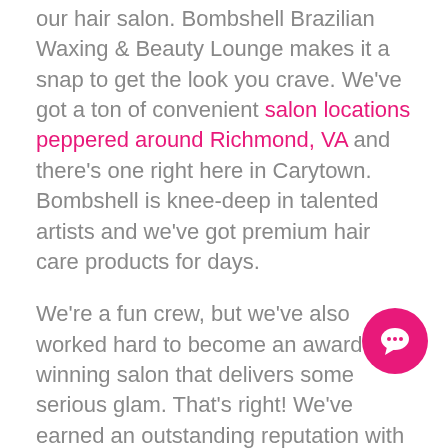our hair salon. Bombshell Brazilian Waxing & Beauty Lounge makes it a snap to get the look you crave. We've got a ton of convenient salon locations peppered around Richmond, VA and there's one right here in Carytown. Bombshell is knee-deep in talented artists and we've got premium hair care products for days.
We're a fun crew, but we've also worked hard to become an award-winning salon that delivers some serious glam. That's right! We've earned an outstanding reputation with our guests as the trendy besties who take style to a whole other level. From root to tip, we take care of every hair strand to bring out your inner diva and let her shine through.
Bombshell offers a suite of services that are filled to the brim with quality and sophistication.